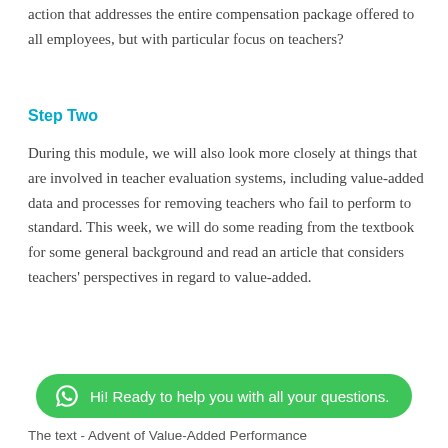action that addresses the entire compensation package offered to all employees, but with particular focus on teachers?
Step Two
During this module, we will also look more closely at things that are involved in teacher evaluation systems, including value-added data and processes for removing teachers who fail to perform to standard. This week, we will do some reading from the textbook for some general background and read an article that considers teachers' perspectives in regard to value-added.
[Figure (other): Green rounded chat bar with WhatsApp icon and text: Hi! Ready to help you with all your questions.]
The text - Advent of Value-Added Performance